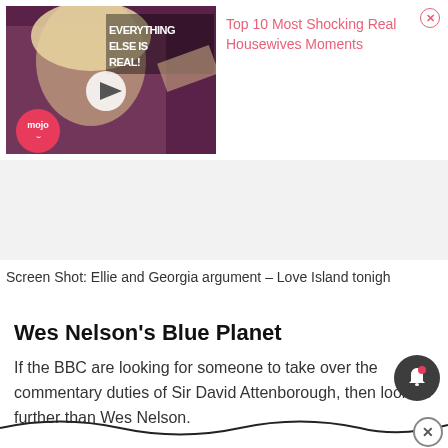[Figure (screenshot): WatchMojo video thumbnail showing a Real Housewives scene with text 'EVERYTHING ELSE IS REAL!' and a play button, with mojo logo in bottom left]
Top 10 Most Shocking Real Housewives Moments
Screen Shot: Ellie and Georgia argument – Love Island tonight
Wes Nelson's Blue Planet
If the BBC are looking for someone to take over the commentary duties of Sir David Attenborough, then look no further than Wes Nelson.